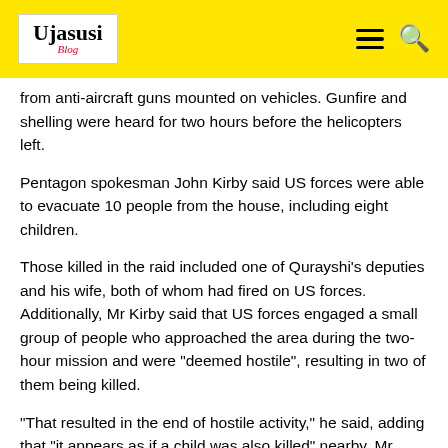Ujasusi Blog
from anti-aircraft guns mounted on vehicles. Gunfire and shelling were heard for two hours before the helicopters left.
Pentagon spokesman John Kirby said US forces were able to evacuate 10 people from the house, including eight children.
Those killed in the raid included one of Qurayshi's deputies and his wife, both of whom had fired on US forces. Additionally, Mr Kirby said that US forces engaged a small group of people who approached the area during the two-hour mission and were "deemed hostile", resulting in two of them being killed.
"That resulted in the end of hostile activity," he said, adding that "it appears as if a child was also killed" nearby. Mr Kirby